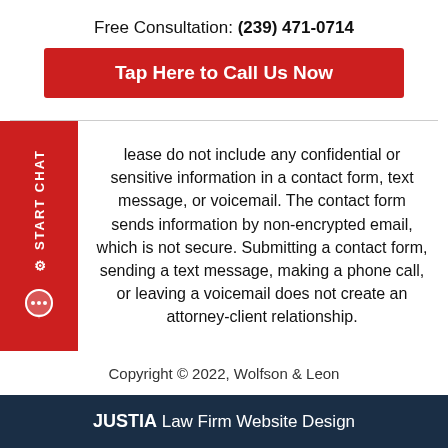Free Consultation: (239) 471-0714
Tap Here to Call Us Now
Please do not include any confidential or sensitive information in a contact form, text message, or voicemail. The contact form sends information by non-encrypted email, which is not secure. Submitting a contact form, sending a text message, making a phone call, or leaving a voicemail does not create an attorney-client relationship.
Copyright © 2022, Wolfson & Leon
JUSTIA Law Firm Website Design